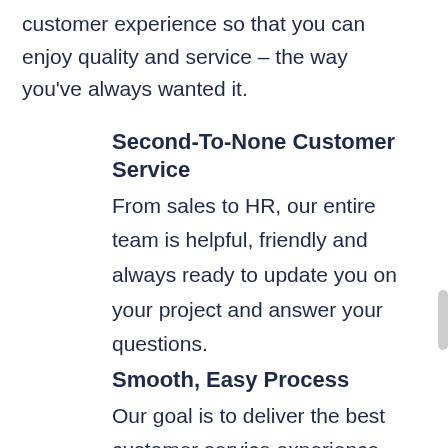customer experience so that you can enjoy quality and service – the way you've always wanted it.
Second-To-None Customer Service
From sales to HR, our entire team is helpful, friendly and always ready to update you on your project and answer your questions.
Smooth, Easy Process
Our goal is to deliver the best customer service experience you've ever had by making the entire process smooth, easy, and